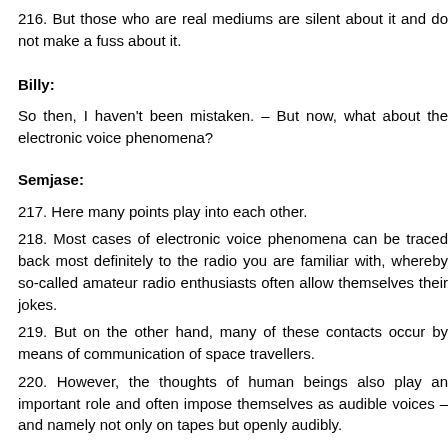216. But those who are real mediums are silent about it and do not make a fuss about it.
Billy:
So then, I haven't been mistaken. – But now, what about the electronic voice phenomena?
Semjase:
217. Here many points play into each other.
218. Most cases of electronic voice phenomena can be traced back most definitely to the radio you are familiar with, whereby so-called amateur radio enthusiasts often allow themselves their jokes.
219. But on the other hand, many of these contacts occur by means of communication of space travellers.
220. However, the thoughts of human beings also play an important role and often impose themselves as audible voices – and namely not only on tapes but openly audibly.